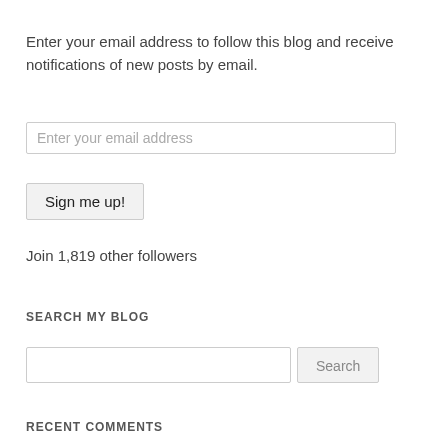Enter your email address to follow this blog and receive notifications of new posts by email.
[Figure (other): Email input field with placeholder text 'Enter your email address']
[Figure (other): Button labeled 'Sign me up!']
Join 1,819 other followers
SEARCH MY BLOG
[Figure (other): Search input field and Search button]
RECENT COMMENTS